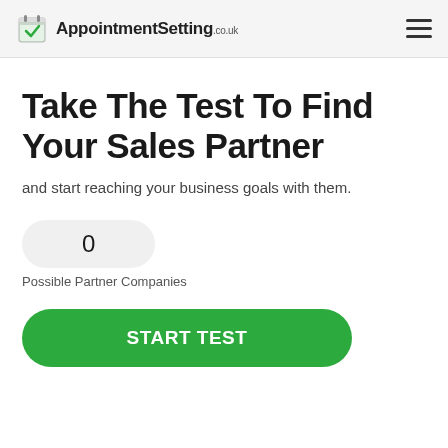AppointmentSetting.co.uk
Take The Test To Find Your Sales Partner
and start reaching your business goals with them.
0
Possible Partner Companies
START TEST